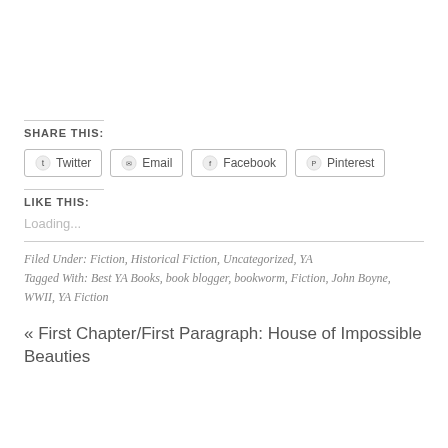SHARE THIS:
Twitter
Email
Facebook
Pinterest
LIKE THIS:
Loading...
Filed Under: Fiction, Historical Fiction, Uncategorized, YA
Tagged With: Best YA Books, book blogger, bookworm, Fiction, John Boyne, WWII, YA Fiction
« First Chapter/First Paragraph: House of Impossible Beauties